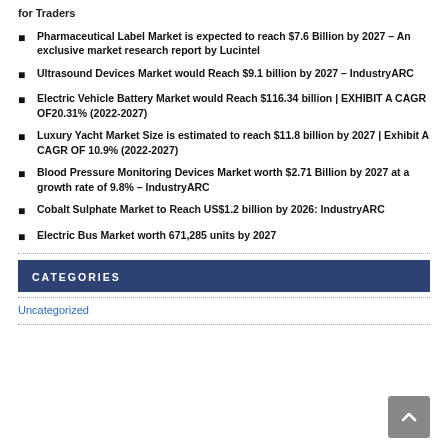for Traders
Pharmaceutical Label Market is expected to reach $7.6 Billion by 2027 – An exclusive market research report by Lucintel
Ultrasound Devices Market would Reach $9.1 billion by 2027 – IndustryARC
Electric Vehicle Battery Market would Reach $116.34 billion | EXHIBIT A CAGR OF20.31% (2022-2027)
Luxury Yacht Market Size is estimated to reach $11.8 billion by 2027 | Exhibit A CAGR OF 10.9% (2022-2027)
Blood Pressure Monitoring Devices Market worth $2.71 Billion by 2027 at a growth rate of 9.8% – IndustryARC
Cobalt Sulphate Market to Reach US$1.2 billion by 2026: IndustryARC
Electric Bus Market worth 671,285 units by 2027
CATEGORIES
Uncategorized